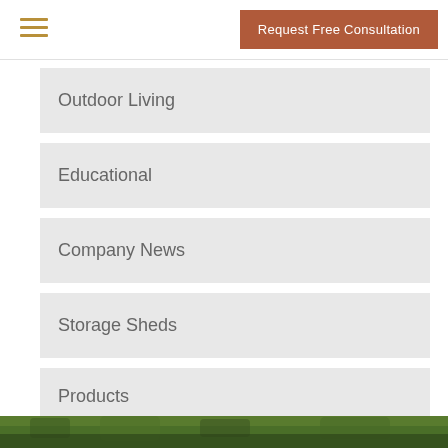Request Free Consultation
Outdoor Living
Educational
Company News
Storage Sheds
Products
Lifestyle Usage
[Figure (photo): Green trees/forest photo strip at the bottom of the page]